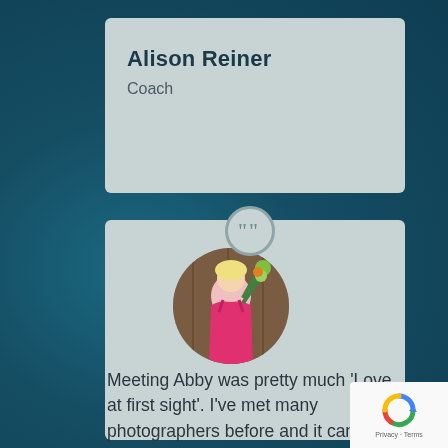Alison Reiner
Coach
[Figure (photo): Circular profile photo of a blonde woman in a pink dress holding green flowers, standing in front of a wooden door]
Meeting Abby was pretty much ‘Love at first sight’. I’ve met many photographers before and it can be daunting, but talking to Abby was almost like looking into a mirror, not in appearance but in